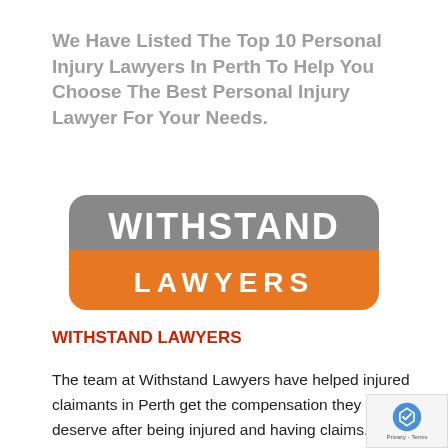We Have Listed The Top 10 Personal Injury Lawyers In Perth To Help You Choose The Best Personal Injury Lawyer For Your Needs.
[Figure (logo): Withstand Lawyers logo: grey rounded rectangle on top with white text 'WITHSTAND', orange rounded rectangle on bottom with white text 'LAWYERS']
WITHSTAND LAWYERS
The team at Withstand Lawyers have helped injured claimants in Perth get the compensation they deserve after being injured and having claims. We specialise in offering the clearest advice and best representation with no upfront costs. We also provide a Free Initial No